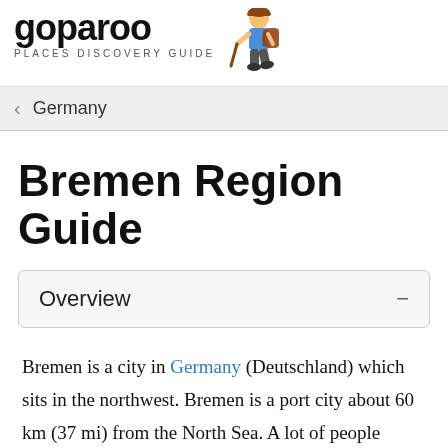goparoo PLACES DISCOVERY GUIDE
< Germany
Bremen Region Guide
Overview
Bremen is a city in Germany (Deutschland) which sits in the northwest. Bremen is a port city about 60 km (37 mi) from the North Sea. A lot of people confuse Bremen with the city of Bremerhaven. Both are separate cities but